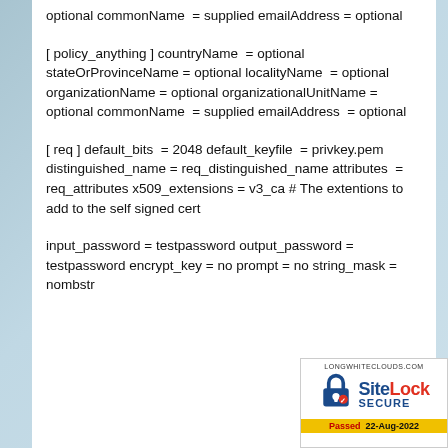optional commonName = supplied emailAddress = optional
[ policy_anything ] countryName = optional stateOrProvinceName = optional localityName = optional organizationName = optional organizationalUnitName = optional commonName = supplied emailAddress = optional
[ req ] default_bits = 2048 default_keyfile = privkey.pem distinguished_name = req_distinguished_name attributes = req_attributes x509_extensions = v3_ca # The extentions to add to the self signed cert
input_password = testpassword output_password = testpassword encrypt_key = no prompt = no string_mask = nombstr
[Figure (logo): SiteLock SECURE badge with padlock icon, longwhiteclouds.com URL, and Passed 22-Aug-2022 banner]